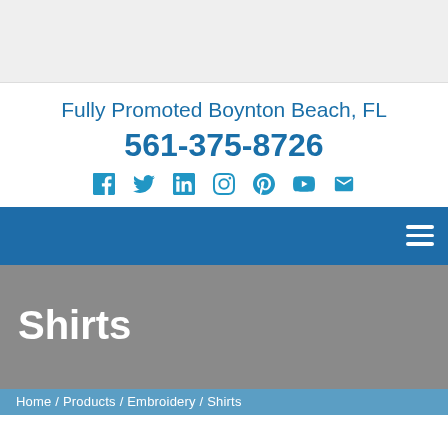[Figure (other): Gray placeholder banner image at top of page]
Fully Promoted Boynton Beach, FL
561-375-8726
[Figure (other): Social media icons row: Facebook, Twitter, LinkedIn, Instagram, Pinterest, YouTube, Email]
Navigation bar with hamburger menu icon
Shirts
Home / Products / Embroidery / Shirts